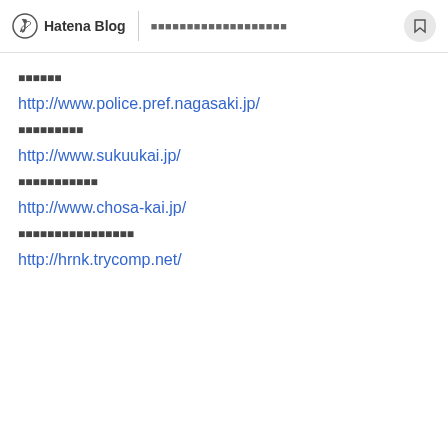Hatena Blog | ■■■■■■■■■■■■■■■■■■■
■■■■■■
http://www.police.pref.nagasaki.jp/
■■■■■■■■■
http://www.sukuukai.jp/
■■■■■■■■■■■
http://www.chosa-kai.jp/
■■■■■■■■■■■■■■■■
http://hrnk.trycomp.net/